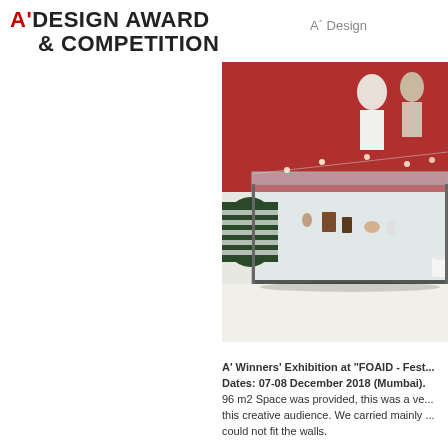A'DESIGN AWARD & COMPETITION
A´ Design
[Figure (photo): Exhibition display case with glass top and small design objects, with people browsing in the background at a fair or exhibition event.]
A' Winners' Exhibition at "FOAID - Fest... Dates: 07-08 December 2018 (Mumbai). 96 m2 Space was provided, this was a ve... this creative audience. We carried mainly ... could not fit the walls.